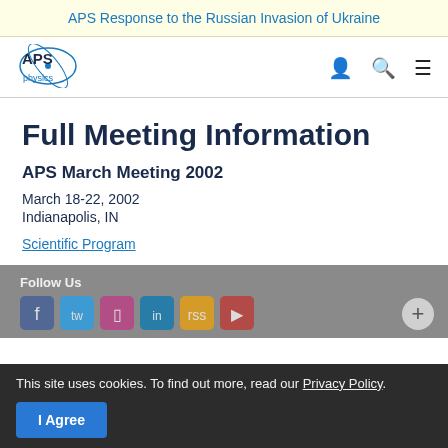APS Response to the Russian Invasion of Ukraine
[Figure (logo): APS Physics logo with circular orbit graphic]
Full Meeting Information
APS March Meeting 2002
March 18-22, 2002
Indianapolis, IN
Scientific Program
Follow Us
This site uses cookies. To find out more, read our Privacy Policy.